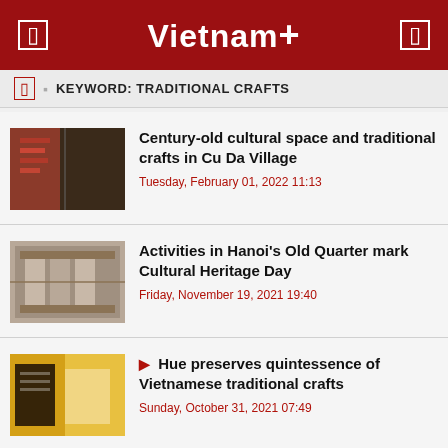Vietnam+
KEYWORD: TRADITIONAL CRAFTS
[Figure (photo): Thumbnail image of traditional crafts - colorful textiles and tools]
Century-old cultural space and traditional crafts in Cu Da Village
Tuesday, February 01, 2022 11:13
[Figure (photo): Thumbnail image of Hanoi Old Quarter architecture]
Activities in Hanoi's Old Quarter mark Cultural Heritage Day
Friday, November 19, 2021 19:40
[Figure (photo): Thumbnail image of Hue traditional crafts - yellow and black bags]
Hue preserves quintessence of Vietnamese traditional crafts
Sunday, October 31, 2021 07:49